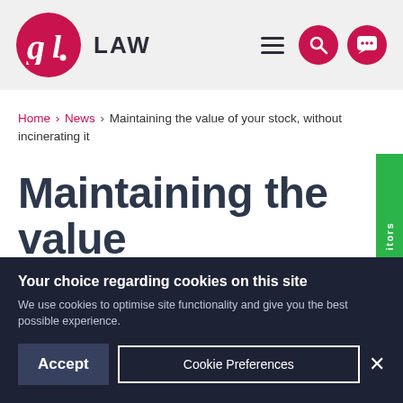[Figure (logo): GL Law logo — pink circle with 'gl' monogram in white, followed by 'LAW' text in dark grey]
Home › News › Maintaining the value of your stock, without incinerating it
Maintaining the value of your stock, withou...
Your choice regarding cookies on this site
We use cookies to optimise site functionality and give you the best possible experience.
Accept  Cookie Preferences  ×